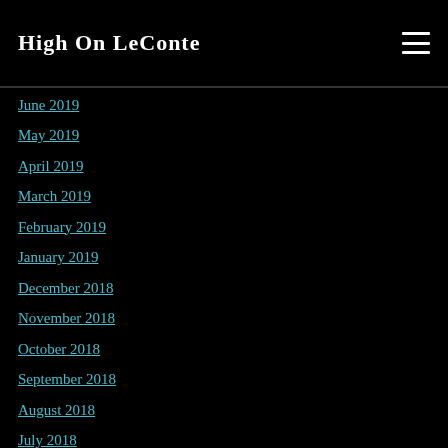High On LeConte
June 2019
May 2019
April 2019
March 2019
February 2019
January 2019
December 2018
November 2018
October 2018
September 2018
August 2018
July 2018
June 2018
May 2018
April 2018
March 2018
February 2018